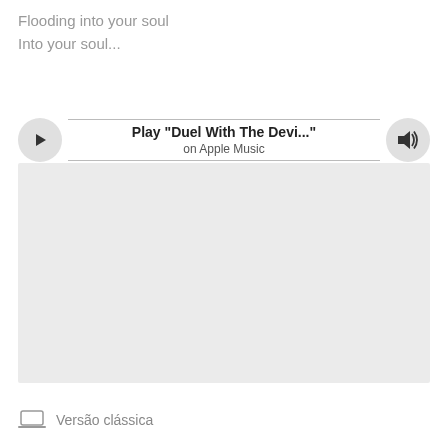Flooding into your soul
Into your soul...
[Figure (other): Music player bar with play button, track title 'Play "Duel With The Devi..."' and subtitle 'on Apple Music', and volume button]
[Figure (other): Large light gray placeholder rectangle (embedded content area)]
Versão clássica